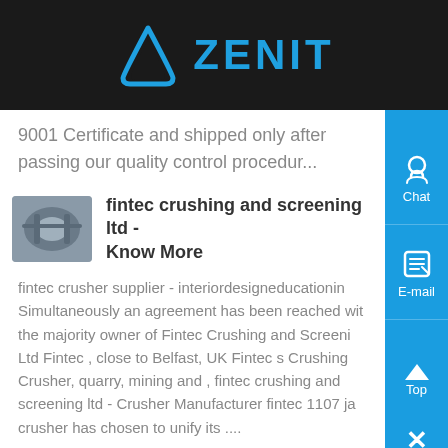ZENIT
9001 Certificate and shipped only after passing our quality control procedur...
fintec crushing and screening ltd - Know More
fintec crusher supplier - interiordesigneducationin Simultaneously an agreement has been reached with the majority owner of Fintec Crushing and Screening Ltd Fintec , close to Belfast, UK Fintec s Crushing Crusher, quarry, mining and , fintec crushing and screening ltd - Crusher Manufacturer fintec 1107 jaw crusher has chosen to unify its ....
fintec 1107 machinemine - Know More